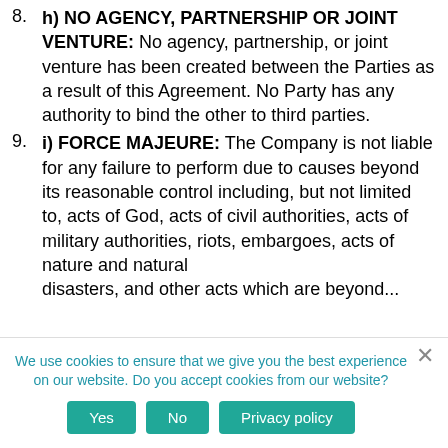8. h) NO AGENCY, PARTNERSHIP OR JOINT VENTURE: No agency, partnership, or joint venture has been created between the Parties as a result of this Agreement. No Party has any authority to bind the other to third parties.
9. i) FORCE MAJEURE: The Company is not liable for any failure to perform due to causes beyond its reasonable control including, but not limited to, acts of God, acts of civil authorities, acts of military authorities, riots, embargoes, acts of nature and natural disasters, and other acts which are beyond...
We use cookies to ensure that we give you the best experience on our website. Do you accept cookies from our website?